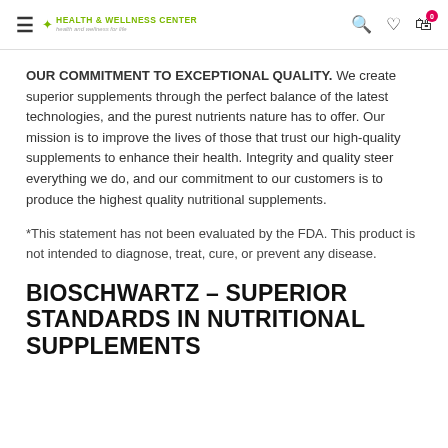Health & Wellness Center – Health and wellness for life
OUR COMMITMENT TO EXCEPTIONAL QUALITY. We create superior supplements through the perfect balance of the latest technologies, and the purest nutrients nature has to offer. Our mission is to improve the lives of those that trust our high-quality supplements to enhance their health. Integrity and quality steer everything we do, and our commitment to our customers is to produce the highest quality nutritional supplements.
*This statement has not been evaluated by the FDA. This product is not intended to diagnose, treat, cure, or prevent any disease.
BIOSCHWARTZ – SUPERIOR STANDARDS IN NUTRITIONAL SUPPLEMENTS